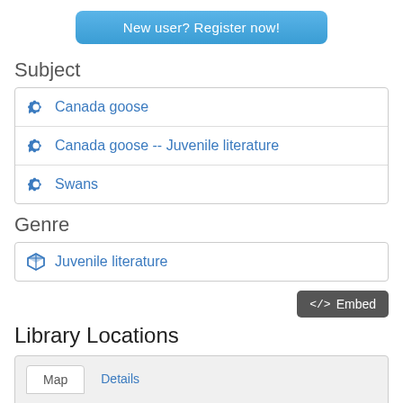[Figure (other): Blue rounded button labeled 'New user? Register now!']
Subject
Canada goose
Canada goose -- Juvenile literature
Swans
Genre
Juvenile literature
[Figure (other): Dark button labeled '</> Embed']
Library Locations
[Figure (other): Map area with Map and Details tabs]